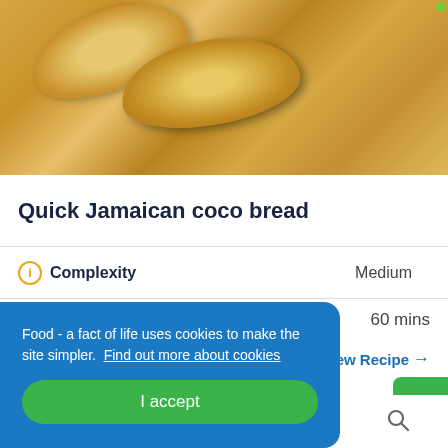[Figure (photo): Photo of Jamaican coco bread rolls stacked on a plate, golden brown color]
Quick Jamaican coco bread
Complexity   Medium
60 mins
ew Recipe →
Food - a fact of life uses cookies to make the site simpler.  Find out more about cookies
I accept